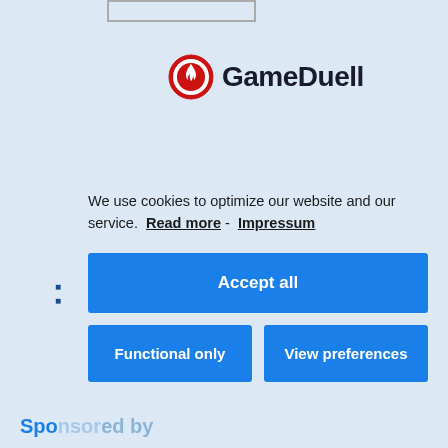[Figure (logo): GameDuell logo with red circle flame icon and bold dark text 'GameDuell']
We use cookies to optimize our website and our service.  Read more -  Impressum
Accept all
Functional only
View preferences
Sponsored by